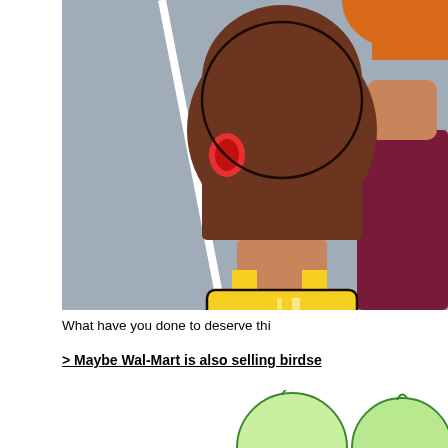[Figure (illustration): Comic panel showing two cartoon characters: a child with brown bob haircut and red hair clip wearing a yellow tank top, viewed from behind/side, and an adult figure with orange/red hair wearing a dark maroon top, against a gray background with a white diagonal line]
What have you done to deserve thi
> Maybe Wal-Mart is also selling birdse
[Figure (illustration): Partial view of cartoon characters showing round heads with light green/yellow coloring, appearing to be birds or similar characters]